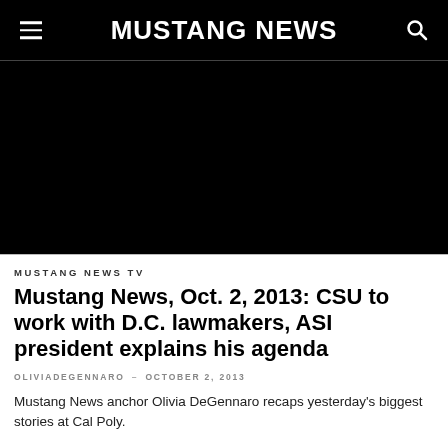MUSTANG NEWS
[Figure (photo): Black video player area for Mustang News TV video]
MUSTANG NEWS TV
Mustang News, Oct. 2, 2013: CSU to work with D.C. lawmakers, ASI president explains his agenda
OLIVIADEGENNARO – OCTOBER 2, 2013
Mustang News anchor Olivia DeGennaro recaps yesterday’s biggest stories at Cal Poly.